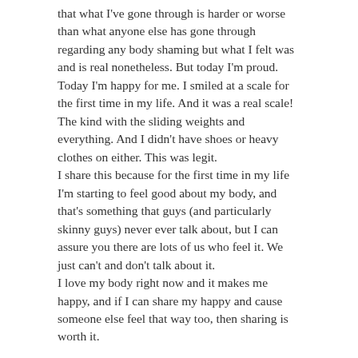that what I've gone through is harder or worse than what anyone else has gone through regarding any body shaming but what I felt was and is real nonetheless. But today I'm proud. Today I'm happy for me. I smiled at a scale for the first time in my life. And it was a real scale! The kind with the sliding weights and everything. And I didn't have shoes or heavy clothes on either. This was legit.
I share this because for the first time in my life I'm starting to feel good about my body, and that's something that guys (and particularly skinny guys) never ever talk about, but I can assure you there are lots of us who feel it. We just can't and don't talk about it.
I love my body right now and it makes me happy, and if I can share my happy and cause someone else feel that way too, then sharing is worth it.
Share this:
Twitter
Facebook
Reddit
Like this: